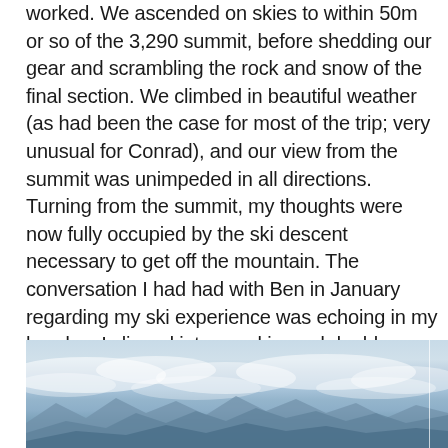worked. We ascended on skies to within 50m or so of the 3,290 summit, before shedding our gear and scrambling the rock and snow of the final section. We climbed in beautiful weather (as had been the case for most of the trip; very unusual for Conrad), and our view from the summit was unimpeded in all directions. Turning from the summit, my thoughts were now fully occupied by the ski descent necessary to get off the mountain. The conversation I had had with Ben in January regarding my ski experience was echoing in my head as I clipped into my skis, and double checked my bindings. This was steep for me, but hesitating or leaning back would be the wrong option. I watched Ben and Jill drop in, took a solid breath, and followed.
[Figure (photo): Mountain panorama photograph showing snow-covered peaks and cloud layers with a blue-grey sky, taken from a high summit vantage point.]